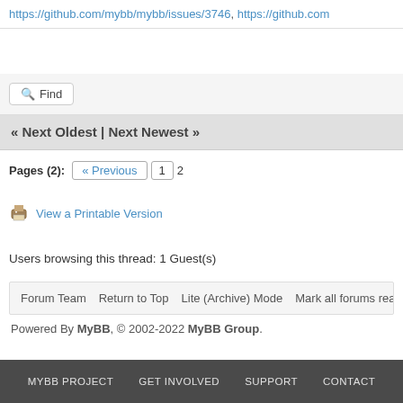https://github.com/mybb/mybb/issues/3746, https://github.com
Find
« Next Oldest | Next Newest »
Pages (2): « Previous 1 2
View a Printable Version
Users browsing this thread: 1 Guest(s)
Forum Team   Return to Top   Lite (Archive) Mode   Mark all forums rea
Powered By MyBB, © 2002-2022 MyBB Group.
MYBB PROJECT   GET INVOLVED   SUPPORT   CONTACT